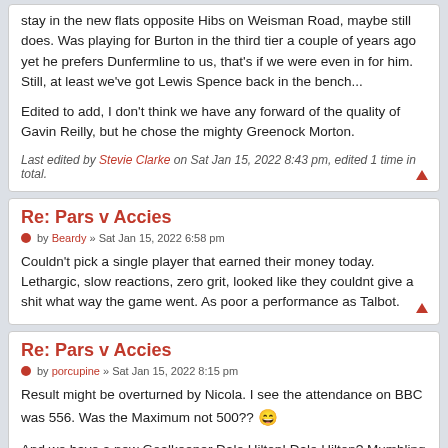stay in the new flats opposite Hibs on Weisman Road, maybe still does. Was playing for Burton in the third tier a couple of years ago yet he prefers Dunfermline to us, that's if we were even in for him. Still, at least we've got Lewis Spence back in the bench...
Edited to add, I don't think we have any forward of the quality of Gavin Reilly, but he chose the mighty Greenock Morton.
Last edited by Stevie Clarke on Sat Jan 15, 2022 8:43 pm, edited 1 time in total.
Re: Pars v Accies
by Beardy » Sat Jan 15, 2022 6:58 pm
Couldn't pick a single player that earned their money today. Lethargic, slow reactions, zero grit, looked like they couldnt give a shit what way the game went. As poor a performance as Talbot.
Re: Pars v Accies
by porcupine » Sat Jan 15, 2022 8:15 pm
Result might be overturned by Nicola. I see the attendance on BBC was 556. Was the Maximum not 500?? 😄
And we have a new Goalkeeper Dale Hilton! Dale Hilton? Mumbling in the Press Box? AAHH...